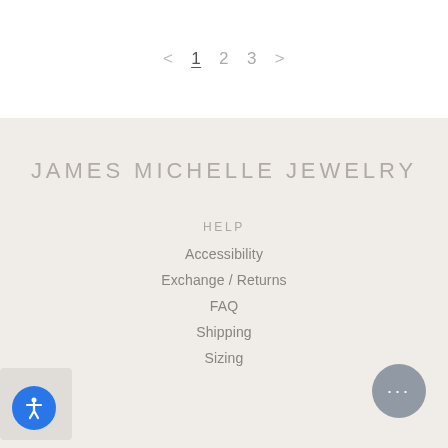< 1 2 3 >
JAMES MICHELLE JEWELRY
HELP
Accessibility
Exchange / Returns
FAQ
Shipping
Sizing